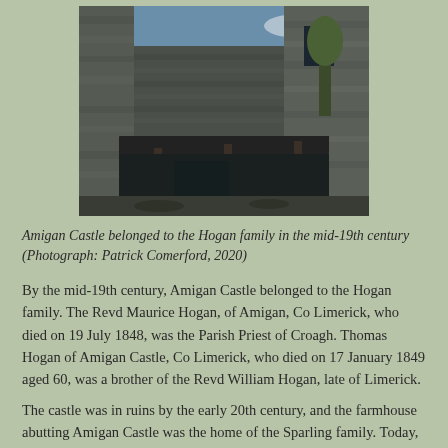[Figure (photo): Photograph of Amigan Castle ruins showing stone walls and a wooden lean-to structure with a metal roof supported by wooden posts.]
Amigan Castle belonged to the Hogan family in the mid-19th century (Photograph: Patrick Comerford, 2020)
By the mid-19th century, Amigan Castle belonged to the Hogan family. The Revd Maurice Hogan, of Amigan, Co Limerick, who died on 19 July 1848, was the Parish Priest of Croagh. Thomas Hogan of Amigan Castle, Co Limerick, who died on 17 January 1849 aged 60, was a brother of the Revd William Hogan, late of Limerick.
The castle was in ruins by the early 20th century, and the farmhouse abutting Amigan Castle was the home of the Sparling family. Today, the castle ruins are part of a working